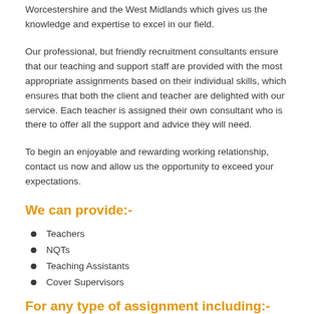Worcestershire and the West Midlands which gives us the knowledge and expertise to excel in our field.
Our professional, but friendly recruitment consultants ensure that our teaching and support staff are provided with the most appropriate assignments based on their individual skills, which ensures that both the client and teacher are delighted with our service. Each teacher is assigned their own consultant who is there to offer all the support and advice they will need.
To begin an enjoyable and rewarding working relationship, contact us now and allow us the opportunity to exceed your expectations.
We can provide:-
Teachers
NQTs
Teaching Assistants
Cover Supervisors
For any type of assignment including:-
Day to Day
Short Term